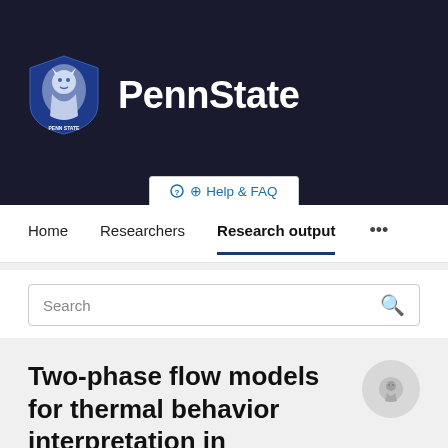[Figure (logo): Penn State University logo with lion shield and PennState wordmark on dark navy background]
Help & FAQ
Home   Researchers   Research output   ...
Search
Two-phase flow models for thermal behavior interpretation in horizontal wellbores